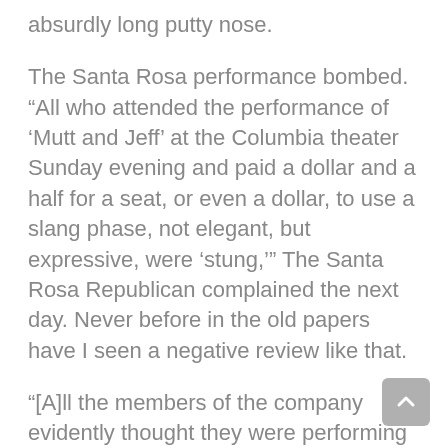absurdly long putty nose.
The Santa Rosa performance bombed. “All who attended the performance of ‘Mutt and Jeff’ at the Columbia theater Sunday evening and paid a dollar and a half for a seat, or even a dollar, to use a slang phase, not elegant, but expressive, were ‘stung,’” The Santa Rosa Republican complained the next day. Never before in the old papers have I seen a negative review like that.
“[A]ll the members of the company evidently thought they were performing in a fifty acre field and were required to